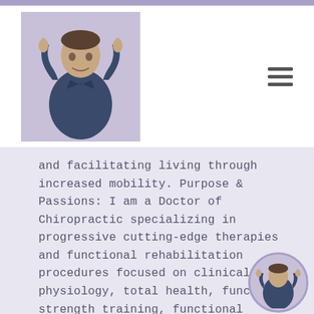[Figure (photo): Doctor in dark blue scrubs giving two thumbs up, standing in header area of a medical/chiropractic website]
and facilitating living through increased mobility. Purpose & Passions: I am a Doctor of Chiropractic specializing in progressive cutting-edge therapies and functional rehabilitation procedures focused on clinical physiology, total health, functional strength training, functional medicine, and complete conditioning. We focus on restoring normal body functions after neck, back, spinal and soft tissue injuries. We use Specialized Chiropractic Protocols, Wellness Programs, Functional & Integrative Nutrition, Agility & Mobility Fitness Training and Cross-Fit Rehabilitation
[Figure (photo): Small circular avatar of doctor in dark blue scrubs giving thumbs up, positioned at bottom right corner]